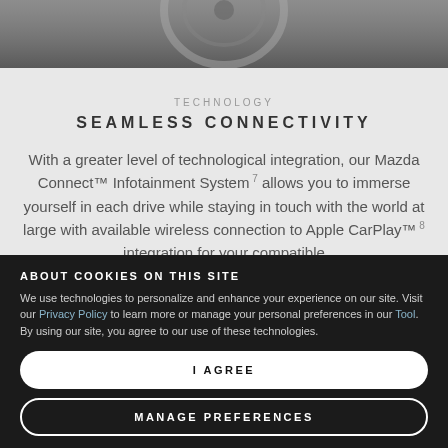[Figure (photo): Close-up of a Mazda steering wheel or interior detail, shown in grayscale/muted tones.]
TECHNOLOGY
SEAMLESS CONNECTIVITY
With a greater level of technological integration, our Mazda Connect™ Infotainment System 7 allows you to immerse yourself in each drive while staying in touch with the world at large with available wireless connection to Apple CarPlay™ 8 integration for your compatible
ABOUT COOKIES ON THIS SITE
We use technologies to personalize and enhance your experience on our site. Visit our Privacy Policy to learn more or manage your personal preferences in our Tool. By using our site, you agree to our use of these technologies.
I AGREE
MANAGE PREFERENCES